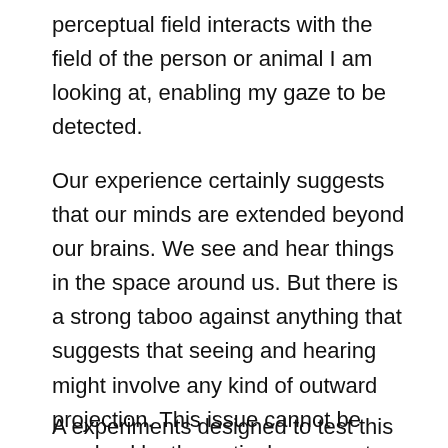perceptual field interacts with the field of the person or animal I am looking at, enabling my gaze to be detected.
Our experience certainly suggests that our minds are extended beyond our brains. We see and hear things in the space around us. But there is a strong taboo against anything that suggests that seeing and hearing might involve any kind of outward projection. This issue cannot be resolved by theoretical arguments alone, or else there would have been more progress over the last century — or even over the last 2,500 years.
A experiments designed to test this